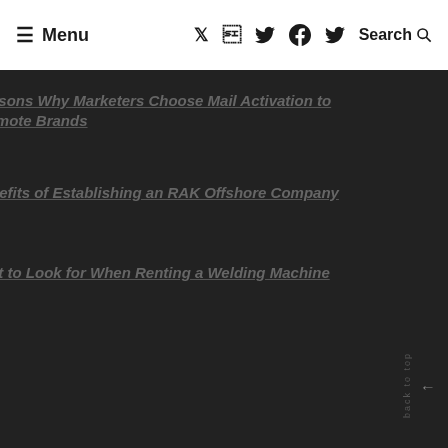≡ Menu   Twitter Facebook Twitter   Search 🔍
asons Why Marketers Choose Mail Activation to rmote Brands
nefits of Establishing an RAK Offshore Company
at to Look for When Renting a Welding Machine
back to top ↑